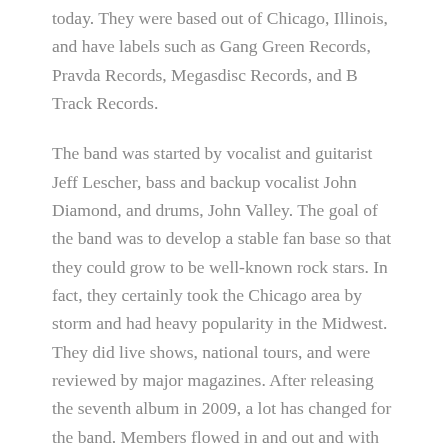today. They were based out of Chicago, Illinois, and have labels such as Gang Green Records, Pravda Records, Megasdisc Records, and B Track Records.
The band was started by vocalist and guitarist Jeff Lescher, bass and backup vocalist John Diamond, and drums, John Valley. The goal of the band was to develop a stable fan base so that they could grow to be well-known rock stars. In fact, they certainly took the Chicago area by storm and had heavy popularity in the Midwest. They did live shows, national tours, and were reviewed by major magazines. After releasing the seventh album in 2009, a lot has changed for the band. Members flowed in and out and with that so did different styles of music. Jeff Lescher was very well known for his amazing vocals and that carried that band so many years forwards. Ken Kurson, John Valley, John Diamond, and more ended up leaving as different opportunities arose. With bands like Green, there is so much that can change in such little